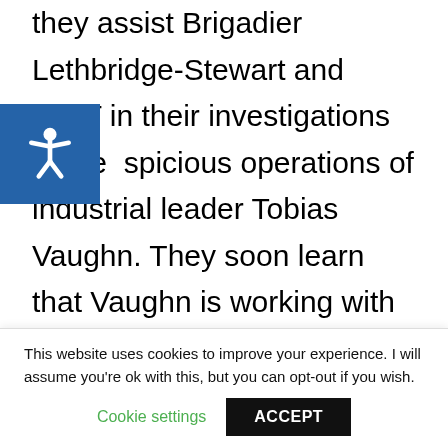they assist Brigadier Lethbridge-Stewart and UNIT in their investigations of the suspicious operations of industrial leader Tobias Vaughn. They soon learn that Vaughn is working with an old enemy of the Doctor's in their plan to invade and conquer Earth. After being betrayed by the Cybermen, Vaughn helps The Doctor to destroy them but is killed in the process.
This website uses cookies to improve your experience. I will assume you're ok with this, but you can opt-out if you wish.